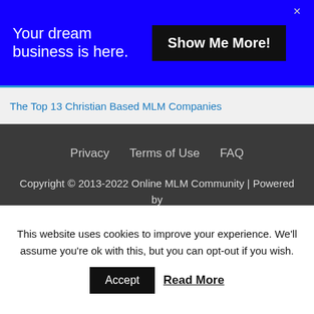[Figure (screenshot): Blue advertisement banner with text 'Your dream business is here.' and a black 'Show Me More!' button, with an X close button]
The Top 13 Christian Based MLM Companies
Privacy   Terms of Use   FAQ
Copyright © 2013-2022 Online MLM Community | Powered by Astra WordPress Theme
This website is for educational purposes only. All businesses come with a certain level of risk. Individual results will vary. Any company names we mention are registered trademarks, owned by the parent company. Any products we discuss is not designed to treat, cure
This website uses cookies to improve your experience. We'll assume you're ok with this, but you can opt-out if you wish.
Accept   Read More